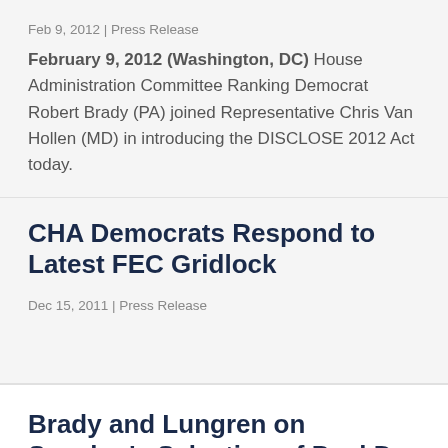Feb 9, 2012 | Press Release
February 9, 2012 (Washington, DC) House Administration Committee Ranking Democrat Robert Brady (PA) joined Representative Chris Van Hollen (MD) in introducing the DISCLOSE 2012 Act today.
CHA Democrats Respond to Latest FEC Gridlock
Dec 15, 2011 | Press Release
Brady and Lungren on Speaker's Selection of Paul D. Irving as 37th House Sergeant at Arms